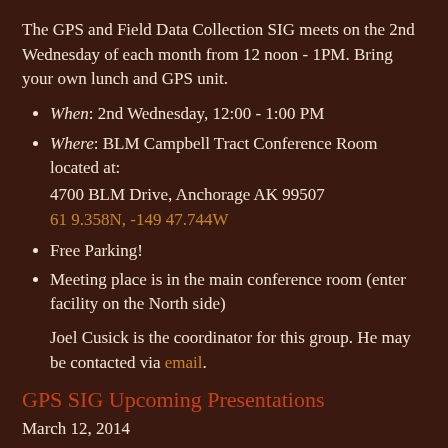The GPS and Field Data Collection SIG meets on the 2nd Wednesday of each month from 12 noon - 1PM. Bring your own lunch and GPS unit.
When: 2nd Wednesday, 12:00 - 1:00 PM
Where: BLM Campbell Tract Conference Room located at:
4700 BLM Drive, Anchorage AK 99507
61 9.358N, -149 47.744W
Free Parking!
Meeting place is in the main conference room (enter facility on the North side)
Joel Cusick is the coordinator for this group. He may be contacted via email.
GPS SIG Upcoming Presentations
March 12, 2014
Speaker: Accupoint